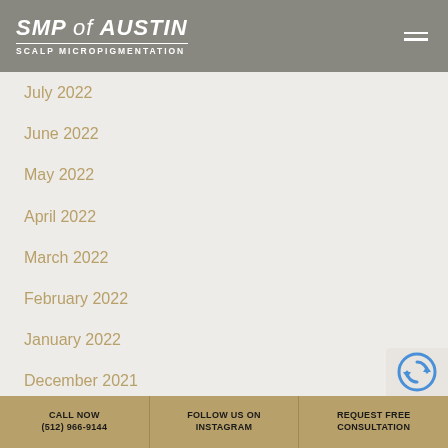SMP of AUSTIN SCALP MICROPIGMENTATION
July 2022
June 2022
May 2022
April 2022
March 2022
February 2022
January 2022
December 2021
November 2021
October 2021
September 2021
CALL NOW (512) 966-9144 | FOLLOW US ON INSTAGRAM | REQUEST FREE CONSULTATION